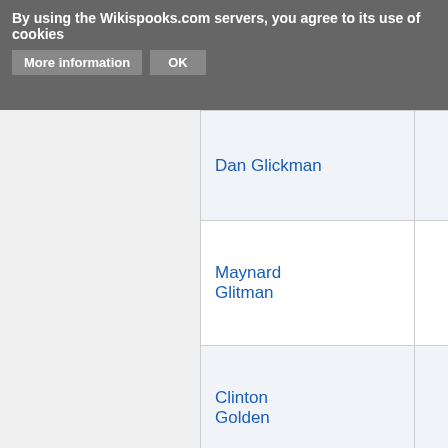By using the Wikispooks.com servers, you agree to its use of cookies  More information  OK
| Name | Country | Date |
| --- | --- | --- |
| Dan Glickman | US | 24 November 1944 |
| Maynard Glitman | US | 8 December 1933 |
| Clinton Golden | US | 16 November 1888 |
| Marshall I. Goldman | US | 26 January 1930 |
| Rebecca | US | 23 February |